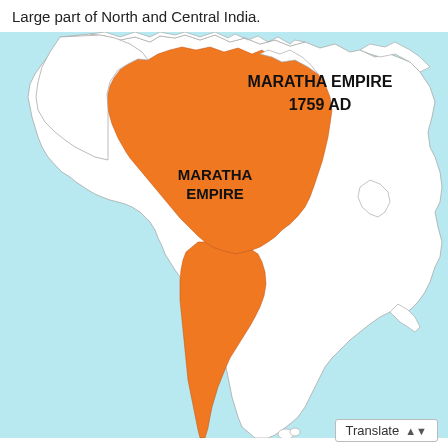Large part of North and Central India.
[Figure (map): Map of the Maratha Empire in 1759 AD, showing the orange-shaded territory covering a large part of North and Central India on a light blue background representing surrounding regions. The map is labeled 'MARATHA EMPIRE 1759 AD' in the upper right and 'MARATHA EMPIRE' in the center of the orange territory.]
Translate